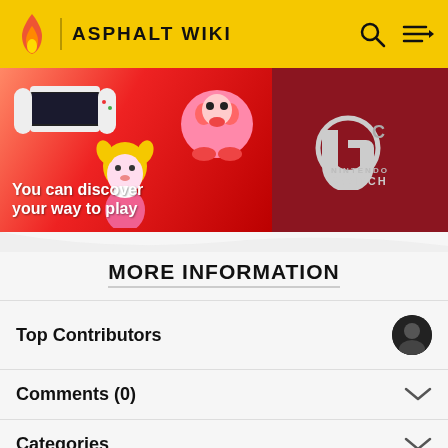ASPHALT WIKI
[Figure (screenshot): Nintendo Switch advertisement banner: 'You can discover your way to play' with Kirby and Isabelle characters and Nintendo Switch logo on red background]
MORE INFORMATION
Top Contributors
Comments (0)
Categories
Community content is available under CC-BY-SA unless otherwise noted.